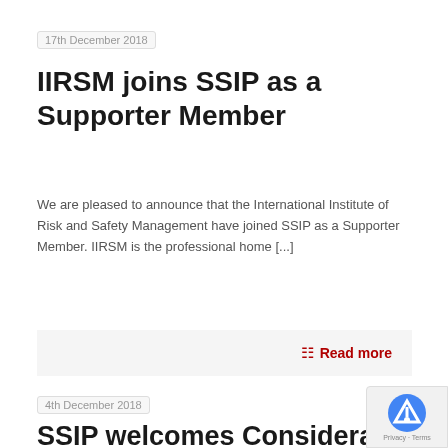17th December 2018
IIRSM joins SSIP as a Supporter Member
We are pleased to announce that the International Institute of Risk and Safety Management have joined SSIP as a Supporter Member. IIRSM is the professional home [...]
Read more
4th December 2018
SSIP welcomes Considerate Constructors Scheme as a Supporter Member